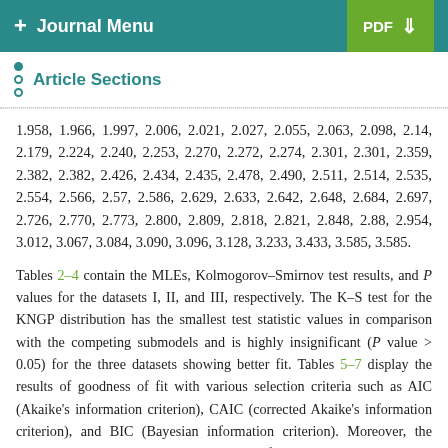+ Journal Menu   PDF ↓
Article Sections
1.958, 1.966, 1.997, 2.006, 2.021, 2.027, 2.055, 2.063, 2.098, 2.14, 2.179, 2.224, 2.240, 2.253, 2.270, 2.272, 2.274, 2.301, 2.301, 2.359, 2.382, 2.382, 2.426, 2.434, 2.435, 2.478, 2.490, 2.511, 2.514, 2.535, 2.554, 2.566, 2.57, 2.586, 2.629, 2.633, 2.642, 2.648, 2.684, 2.697, 2.726, 2.770, 2.773, 2.800, 2.809, 2.818, 2.821, 2.848, 2.88, 2.954, 3.012, 3.067, 3.084, 3.090, 3.096, 3.128, 3.233, 3.433, 3.585, 3.585.
Tables 2–4 contain the MLEs, Kolmogorov–Smirnov test results, and P values for the datasets I, II, and III, respectively. The K–S test for the KNGP distribution has the smallest test statistic values in comparison with the competing submodels and is highly insignificant (P value > 0.05) for the three datasets showing better fit. Tables 5–7 display the results of goodness of fit with various selection criteria such as AIC (Akaike's information criterion), CAIC (corrected Akaike's information criterion), and BIC (Bayesian information criterion). Moreover, the KNGP distribution has the smallest values of AIC, CAIC